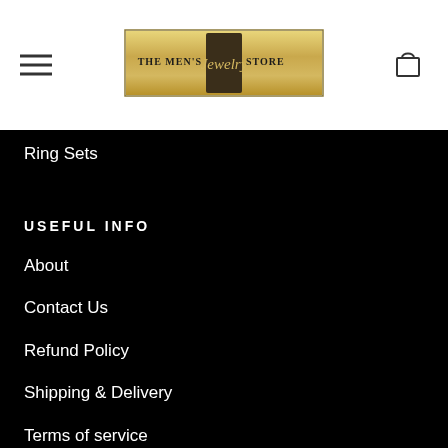[Figure (logo): The Men's Jewelry Store logo — gold rectangular banner with serif/script text]
Ring Sets
USEFUL INFO
About
Contact Us
Refund Policy
Shipping & Delivery
Terms of service
Privacy Policy
Warranty
FAQs